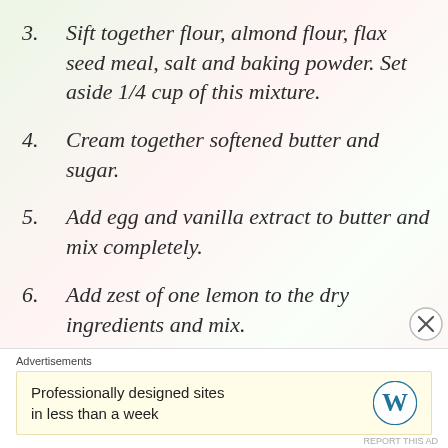3. Sift together flour, almond flour, flax seed meal, salt and baking powder. Set aside 1/4 cup of this mixture.
4. Cream together softened butter and sugar.
5. Add egg and vanilla extract to butter and mix completely.
6. Add zest of one lemon to the dry ingredients and mix.
7. Add the dry ingredients to
Advertisements
Professionally designed sites in less than a week